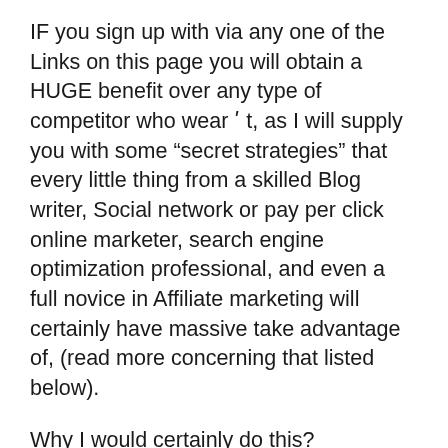IF you sign up with via any one of the Links on this page you will obtain a HUGE benefit over any type of competitor who wear ʹ t, as I will supply you with some “secret strategies” that every little thing from a skilled Blog writer, Social network or pay per click online marketer, search engine optimization professional, and even a full novice in Affiliate marketing will certainly have massive take advantage of, (read more concerning that listed below).
Why I would certainly do this?
Needless to say?
I indicate if you generate income, I make money, right?